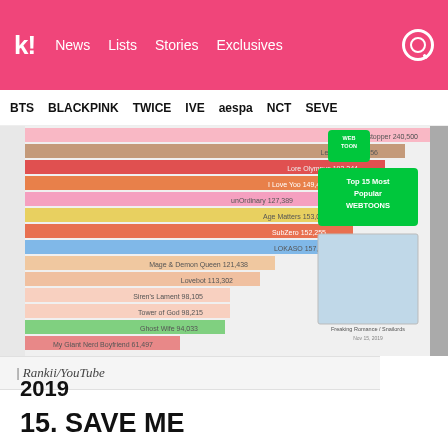k! News Lists Stories Exclusives
BTS BLACKPINK TWICE IVE aespa NCT SEVE
[Figure (bar-chart): Horizontal bar chart showing most popular Webtoons with subscriber counts. Bars include: Heartstopper 240,500; Let's Play 205,656; Lore Olympus 193,344; I Love Yoo 149,406; unOrdinary 127,389; Age Matters 153,003; SubZero 152,255; LOKASO 157,379; Mage & Demon Queen 121,438; Lovebot 113,302; Siren's Lament 98,105; Tower of God 98,215; Ghost Wife 94,033; My Giant Nerd Boyfriend 61,497. Date: Nov 15, 2019. Image shows Freaking Romance / Snailards thumbnail.]
| Rankii/YouTube
2019
15. SAVE ME